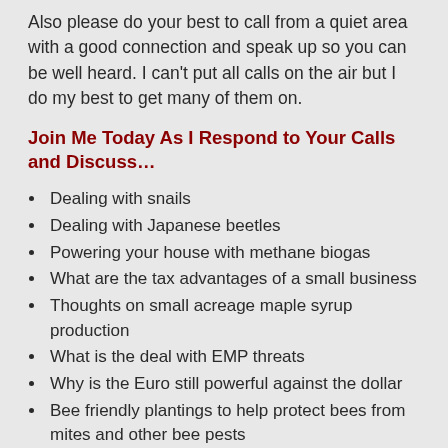Also please do your best to call from a quiet area with a good connection and speak up so you can be well heard. I can’t put all calls on the air but I do my best to get many of them on.
Join Me Today As I Respond to Your Calls and Discuss…
Dealing with snails
Dealing with Japanese beetles
Powering your house with methane biogas
What are the tax advantages of a small business
Thoughts on small acreage maple syrup production
What is the deal with EMP threats
Why is the Euro still powerful against the dollar
Bee friendly plantings to help protect bees from mites and other bee pests
Cooking with Okra
Trying to turn an MRE into a decent meal
Thoughts on benefits vs. risks in carrying a “clip knife”